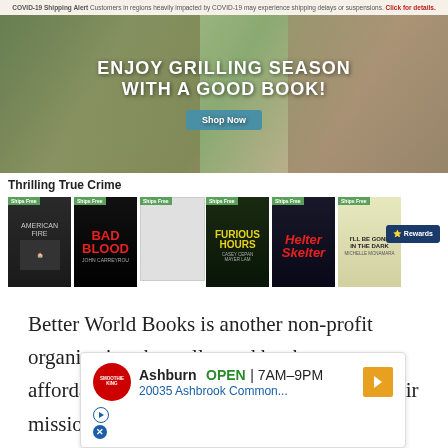COVID-19 Shipping Alert Customers in regions heavily impacted by COVID-19 may experience shipping delays or suspensions. Click for details.
[Figure (screenshot): Better World Books website screenshot showing hero banner with text ENJOY GRILLING SEASON WITH A GOOD BOOK! and a Shop Now button, over a picnic scene background]
Thrilling True Crime
[Figure (screenshot): Row of book covers in Thrilling True Crime section: American Fire, Bad Blood, an unnamed book, Furious Hours, Helter Skelter, I'll Be Gone in the Dark - all with Ships Free badges]
Better World Books is another non-profit organization that sells used books at affordable prices and with free shipping. Their mission is to provide education to each and
[Figure (screenshot): Advertisement overlay: Smoothie King - Ashburn OPEN 7AM-9PM, 20035 Ashbrook Common... with navigation arrow and ad controls]